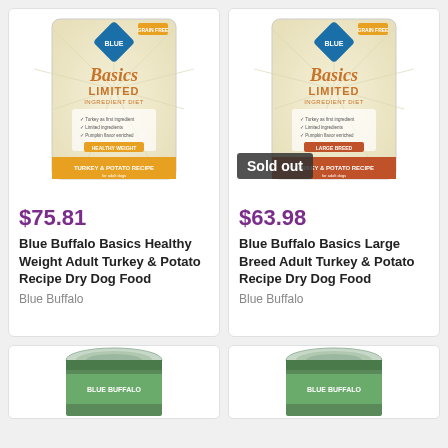[Figure (photo): Blue Buffalo Basics Limited Ingredient Diet Healthy Weight Adult Turkey & Potato Recipe dry dog food bag]
$75.81
Blue Buffalo Basics Healthy Weight Adult Turkey & Potato Recipe Dry Dog Food
Blue Buffalo
[Figure (photo): Blue Buffalo Basics Limited Ingredient Diet Large Breed Adult Turkey & Potato Recipe dry dog food bag with Sold out badge]
$63.98
Blue Buffalo Basics Large Breed Adult Turkey & Potato Recipe Dry Dog Food
Blue Buffalo
[Figure (photo): Blue Buffalo canned dog food tin, partially visible at bottom]
[Figure (photo): Blue Buffalo canned dog food tin, partially visible at bottom]